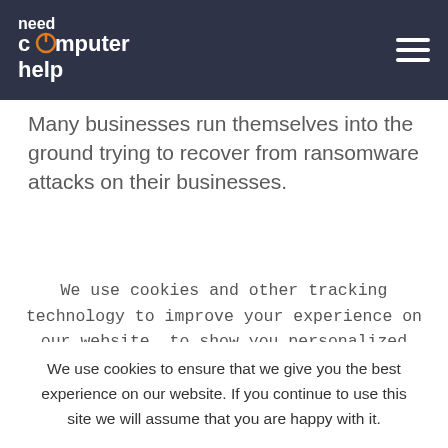need computer help
Many businesses run themselves into the ground trying to recover from ransomware attacks on their businesses.
We use cookies and other tracking technology to improve your experience on our website, to show you personalized content and targeted ads, to analyze our website traffic and to understand where our visitors are coming from. By browsing
We use cookies to ensure that we give you the best experience on our website. If you continue to use this site we will assume that you are happy with it.
OK    READ